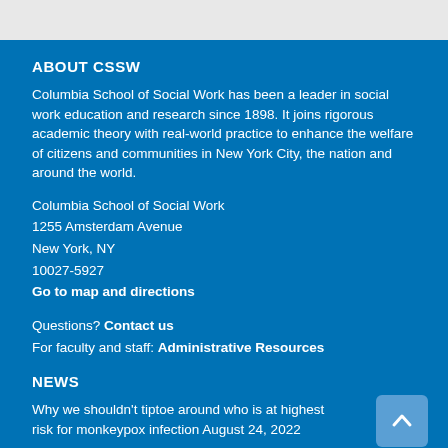ABOUT CSSW
Columbia School of Social Work has been a leader in social work education and research since 1898. It joins rigorous academic theory with real-world practice to enhance the welfare of citizens and communities in New York City, the nation and around the world.
Columbia School of Social Work
1255 Amsterdam Avenue
New York, NY
10027-5927
Go to map and directions
Questions? Contact us
For faculty and staff: Administrative Resources
NEWS
Why we shouldn't tiptoe around who is at highest risk for monkeypox infection August 24, 2022